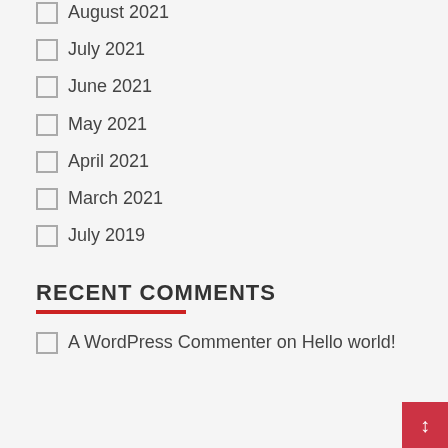August 2021
July 2021
June 2021
May 2021
April 2021
March 2021
July 2019
RECENT COMMENTS
A WordPress Commenter on Hello world!